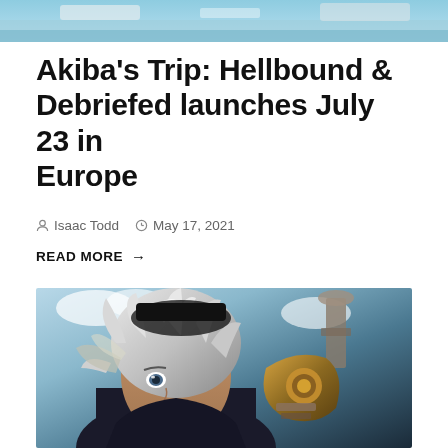[Figure (photo): Top portion of a game screenshot showing a colorful anime scene]
Akiba's Trip: Hellbound & Debriefed launches July 23 in Europe
Isaac Todd  May 17, 2021
READ MORE →
[Figure (photo): Anime character with white/silver hair and dark outfit holding a weapon, close-up portrait shot with an outdoor background]